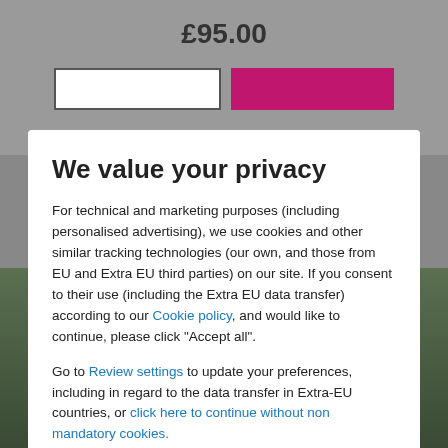£95.00
We value your privacy
For technical and marketing purposes (including personalised advertising), we use cookies and other similar tracking technologies (our own, and those from EU and Extra EU third parties) on our site. If you consent to their use (including the Extra EU data transfer) according to our Cookie policy, and would like to continue, please click "Accept all".
Go to Review settings to update your preferences, including in regard to the data transfer in Extra-EU countries, or click here to continue without non mandatory cookies.
ACCEPT ALL